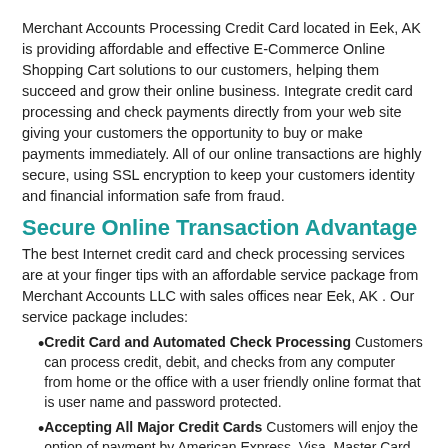Merchant Accounts Processing Credit Card located in Eek, AK is providing affordable and effective E-Commerce Online Shopping Cart solutions to our customers, helping them succeed and grow their online business. Integrate credit card processing and check payments directly from your web site giving your customers the opportunity to buy or make payments immediately. All of our online transactions are highly secure, using SSL encryption to keep your customers identity and financial information safe from fraud.
Secure Online Transaction Advantage
The best Internet credit card and check processing services are at your finger tips with an affordable service package from Merchant Accounts LLC with sales offices near Eek, AK . Our service package includes:
Credit Card and Automated Check Processing Customers can process credit, debit, and checks from any computer from home or the office with a user friendly online format that is user name and password protected.
Accepting All Major Credit Cards Customers will enjoy the option of payment by American Express, Visa, Master Card, Discover Card and many more credit purchasing options from your web site.